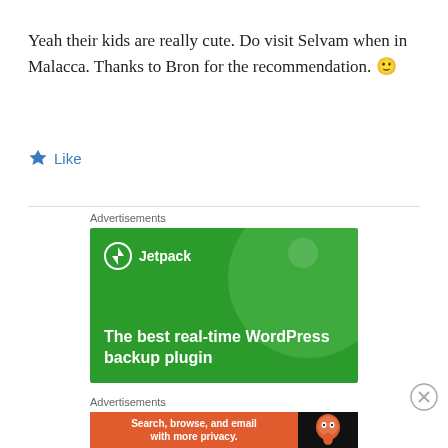Yeah their kids are really cute. Do visit Selvam when in Malacca. Thanks to Bron for the recommendation. 🙂
Like
[Figure (screenshot): Jetpack advertisement banner on green background with text 'The best real-time WordPress backup plugin' and Jetpack logo]
[Figure (screenshot): DuckDuckGo advertisement banner in orange with text 'Search, browse, and email with more privacy.' and duck logo on dark background]